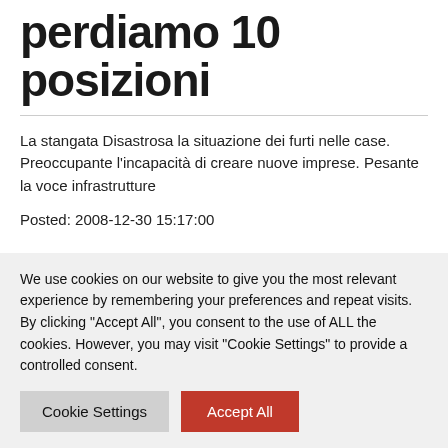perdiamo 10 posizioni
La stangata Disastrosa la situazione dei furti nelle case. Preoccupante l'incapacità di creare nuove imprese. Pesante la voce infrastrutture
Posted: 2008-12-30 15:17:00
We use cookies on our website to give you the most relevant experience by remembering your preferences and repeat visits. By clicking "Accept All", you consent to the use of ALL the cookies. However, you may visit "Cookie Settings" to provide a controlled consent.